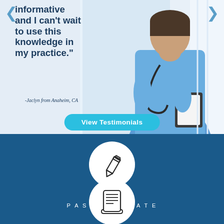informative and I can't wait to use this knowledge in my practice."
-Jaclyn from Anaheim, CA
[Figure (photo): Female nurse in blue scrubs with stethoscope holding a clipboard, standing in a clinical setting]
View Testimonials
95%
PASSING RATE
[Figure (illustration): Pencil icon inside a white circle on dark blue background]
[Figure (illustration): Certificate/scroll icon inside a white circle on dark blue background]